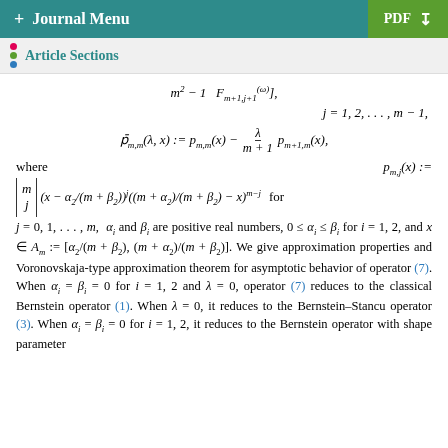+ Journal Menu | PDF
Article Sections
j = 0, 1, ..., m, α_i and β_i are positive real numbers, 0 ≤ α_i ≤ β_i for i = 1, 2, and x ∈ A_m := [α_2/(m + β_2), (m + α_2)/(m + β_2)]. We give approximation properties and Voronovskaja-type approximation theorem for asymptotic behavior of operator (7). When α_i = β_i = 0 for i = 1, 2 and λ = 0, operator (7) reduces to the classical Bernstein operator (1). When λ = 0, it reduces to the Bernstein–Stancu operator (3). When α_i = β_i = 0 for i = 1, 2, it reduces to the Bernstein operator with shape parameter